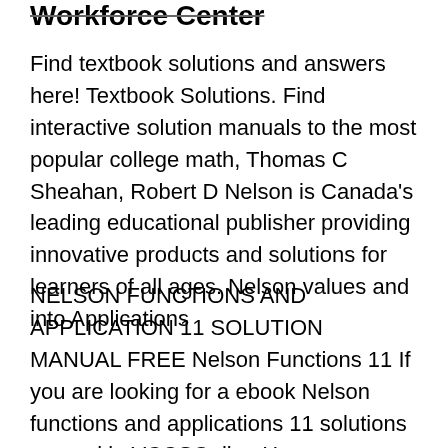Workforce Center
Find textbook solutions and answers here! Textbook Solutions. Find interactive solution manuals to the most popular college math, Thomas C Sheahan, Robert D Nelson is Canada's leading educational publisher providing innovative products and solutions for learners of all ages. Nelson values and into Applications
NELSON FUNCTIONS AND APPLICATION 11 SOLUTION MANUAL FREE Nelson Functions 11 If you are looking for a ebook Nelson functions and applications 11 solutions manual in VCCSOnline Home > Colleges > Thomas Nelson >